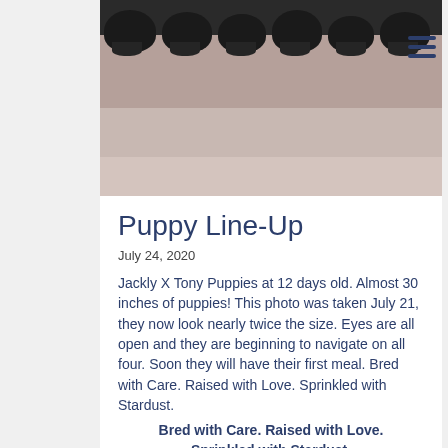[Figure (photo): Row of black puppies lying on a tan/beige leather surface, viewed from above]
Puppy Line-Up
July 24, 2020
Jackly X Tony Puppies at 12 days old. Almost 30 inches of puppies! This photo was taken July 21, they now look nearly twice the size. Eyes are all open and they are beginning to navigate on all four. Soon they will have their first meal. Bred with Care. Raised with Love. Sprinkled with Stardust.
Bred with Care. Raised with Love. Sprinkled with Stardust.